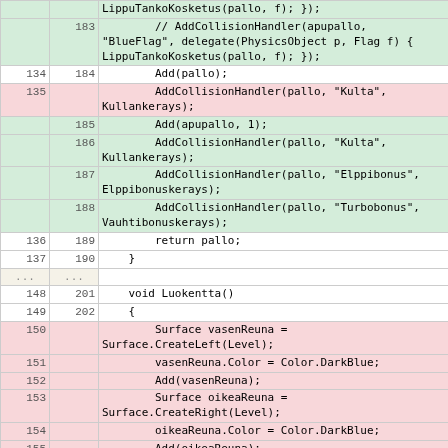| old | new | code |
| --- | --- | --- |
|  |  | LippuTankoKosketus(pallo, f); }); |
|  | 183 |         // AddCollisionHandler(apupallo,
"BlueFlag", delegate(PhysicsObject p, Flag f) {
LippuTankoKosketus(pallo, f); }); |
| 134 | 184 |         Add(pallo); |
| 135 |  |         AddCollisionHandler(pallo, "Kulta",
Kullankerays); |
|  | 185 |         Add(apupallo, 1); |
|  | 186 |         AddCollisionHandler(pallo, "Kulta",
Kullankerays); |
|  | 187 |         AddCollisionHandler(pallo, "Elppibonus",
Elppibonuskerays); |
|  | 188 |         AddCollisionHandler(pallo, "Turbobonus",
Vauhtibonuskerays); |
| 136 | 189 |         return pallo; |
| 137 | 190 |     } |
| ... | ... |  |
| 148 | 201 |     void Luokentta() |
| 149 | 202 |     { |
| 150 |  |         Surface vasenReuna =
Surface.CreateLeft(Level); |
| 151 |  |         vasenReuna.Color = Color.DarkBlue; |
| 152 |  |         Add(vasenReuna); |
| 153 |  |         Surface oikeaReuna =
Surface.CreateRight(Level); |
| 154 |  |         oikeaReuna.Color = Color.DarkBlue; |
| 155 |  |         Add(oikeaReuna); |
| 156 |  |         Surface ylaReuna =
Surface.CreateTop(Level); |
| 157 |  |         ylaReuna.Color = Color.DarkBlue; |
| 158 |  |         Add(ylaReuna); |
| 159 |  |         Surface alaReuna =
Surface.CreateBottom(Level); |
| 160 |  |         ... |